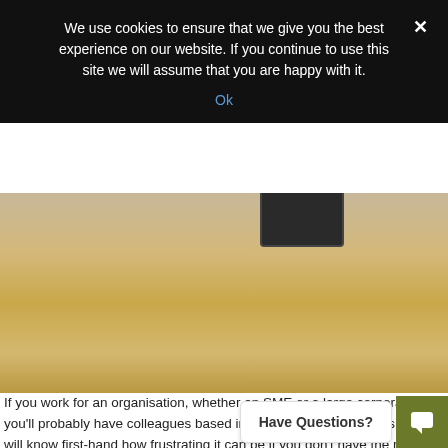We use cookies to ensure that we give you the best experience on our website. If you continue to use this site we will assume that you are happy with it.
Ok
[Figure (photo): Photo of a wooden surface (table/desk) with a dark device (phone or tablet) partially visible at the top center.]
If you work for an organisation, whether an SME or a large corporate, you'll probably have colleagues based in lots of different locations so you will know first-hand how frustrating it can be if you don't have the right video conference equipment in place for your meeting!
You may have experienced one or all of the following:
Your meeting not being as prod...
Not being able to see any doc...ea
Not being able to see or hear who is talking